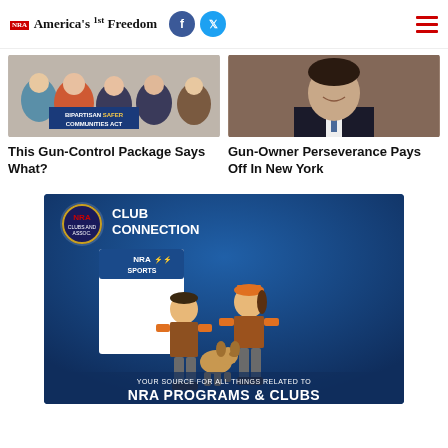NRA America's 1st Freedom
[Figure (photo): Politicians standing at a podium with a sign reading 'Bipartisan Safer Communities Act']
[Figure (photo): Portrait of a man in a suit and tie smiling]
This Gun-Control Package Says What?
Gun-Owner Perseverance Pays Off In New York
[Figure (infographic): NRA Club Connection advertisement showing two children in hunting gear with a dog, and NRA Sports brochure. Text reads 'YOUR SOURCE FOR ALL THINGS RELATED TO NRA PROGRAMS & CLUBS']